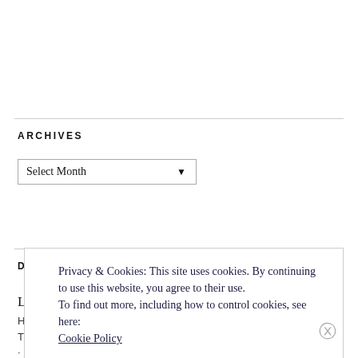ARCHIVES
Select Month
DON'T MISS IT:
Long week
Privacy & Cookies: This site uses cookies. By continuing to use this website, you agree to their use.
To find out more, including how to control cookies, see here: Cookie Policy
Close and accept